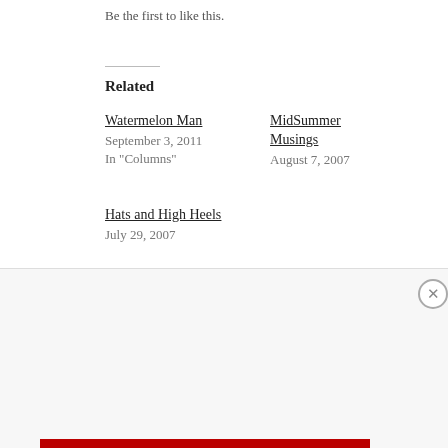Be the first to like this.
Related
Watermelon Man
September 3, 2011
In "Columns"
MidSummer Musings
August 7, 2007
Hats and High Heels
July 29, 2007
Privacy & Cookies: This site uses cookies. By continuing to use this website, you agree to their use.
To find out more, including how to control cookies, see here: Cookie Policy
Close and accept